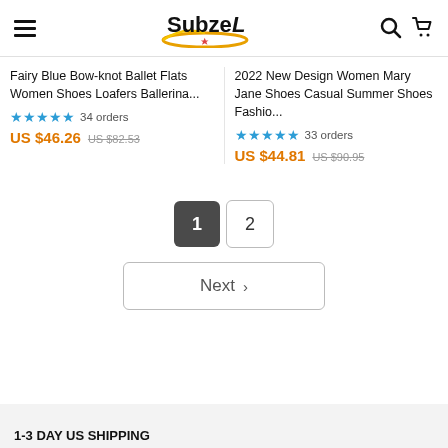SubzeL — navigation header with hamburger menu, logo, search and cart icons
Fairy Blue Bow-knot Ballet Flats Women Shoes Loafers Ballerina...
★★★★★ 34 orders  US $46.26  US $82.53
2022 New Design Women Mary Jane Shoes Casual Summer Shoes Fashio...
★★★★★ 33 orders  US $44.81  US $90.95
Pagination: 1 (active), 2
Next >
1-3 DAY US SHIPPING